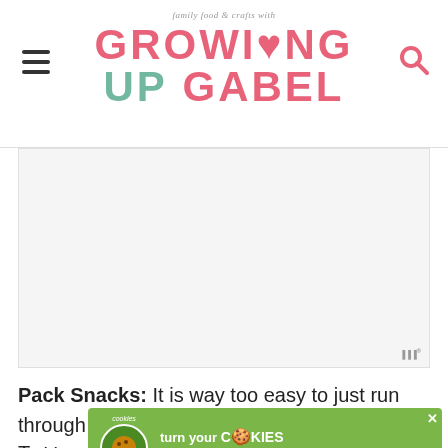family food & crafts with GROWING UP GABEL
[Figure (other): Advertisement/placeholder image area with light gray background and Mediavine watermark in bottom right corner]
Pack Snacks: It is way too easy to just run through the drive through while you are waiting for your kids. To a... ...s you like to y... ...den) in
[Figure (other): Cookie ad banner: 'cookies for kids cancer - turn your COOKIES into a CURE LEARN HOW' on green background with close X button and Mediavine watermark]